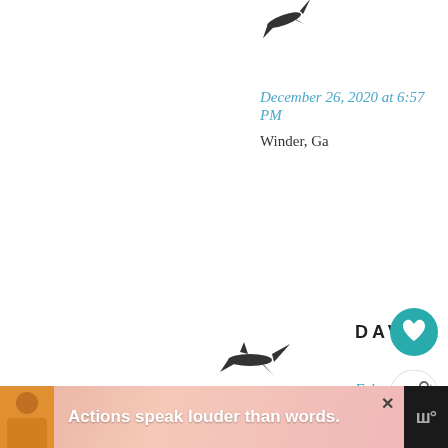[Figure (illustration): Small airplane illustration avatar at top left, partially cropped]
December 26, 2020 at 6:57 PM
Winder, Ga
[Figure (illustration): Small airplane illustration avatar for David comment]
DAVID
February 12, 2021 at 6:30 PM
Can you share more specifics? Where in Winder?
Reply
[Figure (other): Ad banner: Actions speak louder than words.]